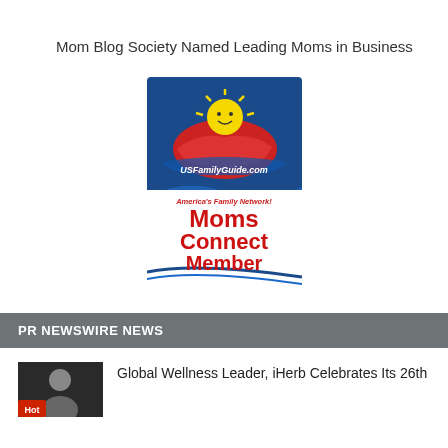Mom Blog Society Named Leading Moms in Business
[Figure (logo): USFamilyGuide.com America's Family Network! Moms Connect Member badge/logo]
PR NEWSWIRE NEWS
[Figure (photo): Thumbnail photo of a person, with a red 'hot' tag overlay]
Global Wellness Leader, iHerb Celebrates Its 26th